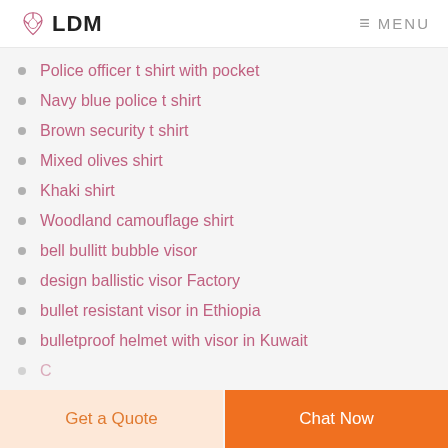LDM  MENU
Police officer t shirt with pocket
Navy blue police t shirt
Brown security t shirt
Mixed olives shirt
Khaki shirt
Woodland camouflage shirt
bell bullitt bubble visor
design ballistic visor Factory
bullet resistant visor in Ethiopia
bulletproof helmet with visor in Kuwait
Get a Quote  Chat Now